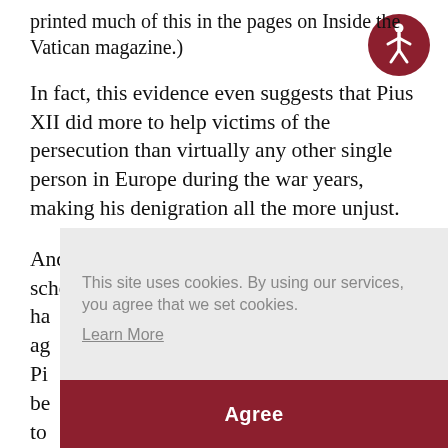printed much of this in the pages on Inside the Vatican magazine.)
[Figure (logo): Accessibility icon — circular dark red badge with a white human figure in motion]
In fact, this evidence even suggests that Pius XII did more to help victims of the persecution than virtually any other single person in Europe during the war years, making his denigration all the more unjust.
And because an increasing number of scholars ha[ve concluded that the evidence ag[rees that] Pi[us XII] be[lieved] to
"I
This site uses cookies. By using our services, you agree that we set cookies. Learn More
Agree